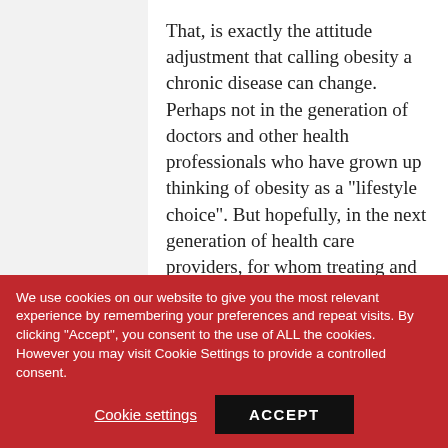That, is exactly the attitude adjustment that calling obesity a chronic disease can change. Perhaps not in the generation of doctors and other health professionals who have grown up thinking of obesity as a "lifestyle choice". But hopefully, in the next generation of health care providers, for whom treating and helping their patients manage their obesity will be no different from treating and helping patients living with any other chronic
We use cookies on our website to give you the most relevant experience by remembering your preferences and repeat visits. By clicking "Accept", you consent to the use of ALL the cookies. However you may visit Cookie Settings to provide a controlled consent.